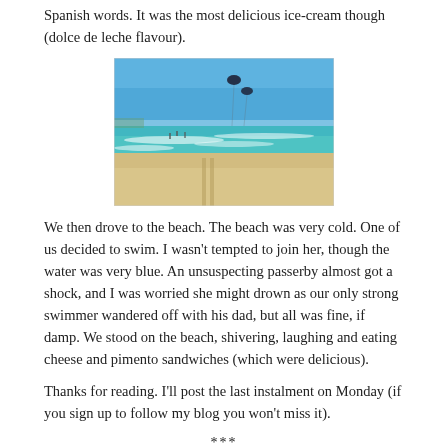Spanish words. It was the most delicious ice-cream though (dolce de leche flavour).
[Figure (photo): A beach scene with blue sky, turquoise water with waves, sandy shore with tire tracks, people in the background, and two kite-surfing kites visible in the sky.]
We then drove to the beach. The beach was very cold. One of us decided to swim. I wasn’t tempted to join her, though the water was very blue. An unsuspecting passerby almost got a shock, and I was worried she might drown as our only strong swimmer wandered off with his dad, but all was fine, if damp. We stood on the beach, shivering, laughing and eating cheese and pimento sandwiches (which were delicious).
Thanks for reading. I’ll post the last instalment on Monday (if you sign up to follow my blog you won’t miss it).
***